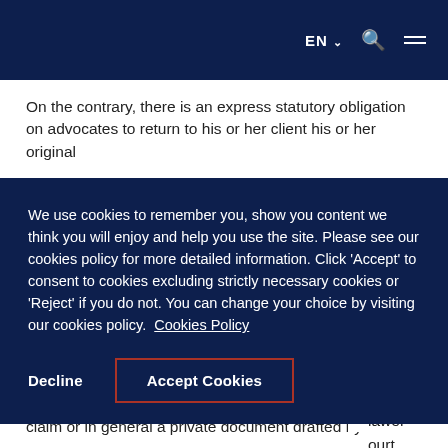EN  Q  ☰
On the contrary, there is an express statutory obligation on advocates to return to his or her client his or her original
[Figure (screenshot): Cookie consent overlay with dark navy background containing cookie policy text, a Decline button, and an Accept Cookies button with red border]
claim or in general a private document drafted by him or